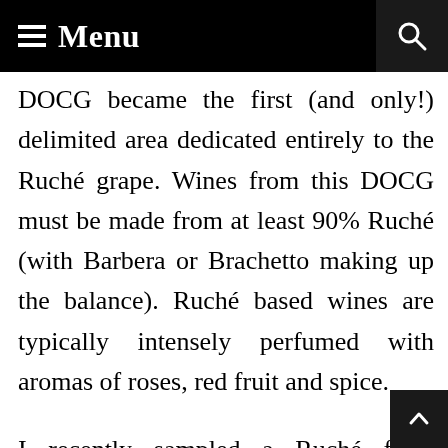≡ Menu
DOCG became the first (and only!) delimited area dedicated entirely to the Ruché grape. Wines from this DOCG must be made from at least 90% Ruché (with Barbera or Brachetto making up the balance). Ruché based wines are typically intensely perfumed with aromas of roses, red fruit and spice.
I recently sampled a Ruché from Montalbera – an Italian producer hugely supportive of and dedicated to the grape. The wine was one of the most unique wines I've ever had.